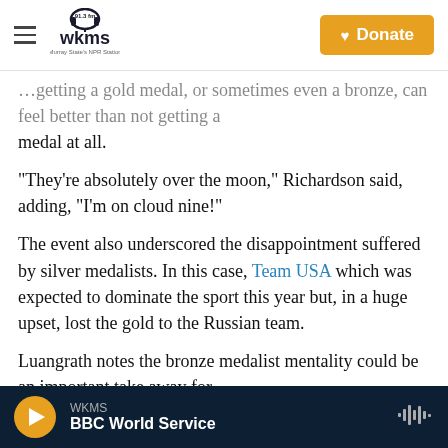WKMS 91.3 fm — Murray State's NPR Station | Donate
…getting a gold medal, or sometimes even a bronze, can feel better than not getting a medal at all.
"They're absolutely over the moon," Richardson said, adding, "I'm on cloud nine!"
The event also underscored the disappointment suffered by silver medalists. In this case, Team USA which was expected to dominate the sport this year but, in a huge upset, lost the gold to the Russian team.
Luangrath notes the bronze medalist mentality could be an important take away for
WKMS — BBC World Service